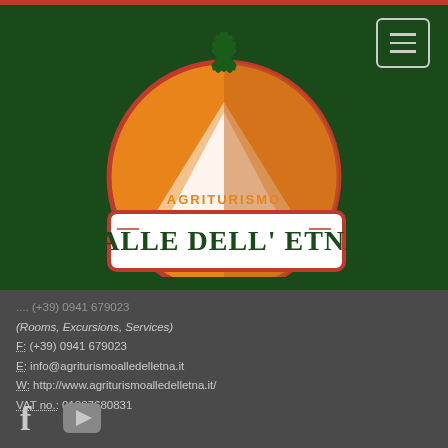[Figure (logo): Agriturismo Valle Dell'Etna logo: circular orange/red design with mountain silhouette and pineapple/palm top, text 'AGRITURISMO' in orange above 'VALLE DELL' ETNA' in dark green on white banner with red border]
(Rooms, Excursions, Services)
F: (+39) 0941 679023
E: info@agriturismoelledelletna.it
W: http://www.agriturismoelledelletna.it/
VAT no.: 01887680831